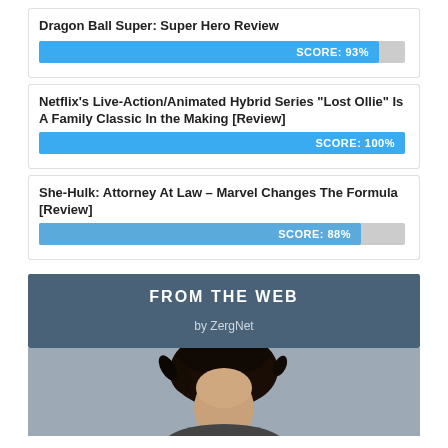Dragon Ball Super: Super Hero Review
[Figure (bar-chart): Score bar]
Netflix’s Live-Action/Animated Hybrid Series “Lost Ollie” Is A Family Classic In the Making [Review]
[Figure (bar-chart): Score bar]
She-Hulk: Attorney At Law – Marvel Changes The Formula [Review]
[Figure (bar-chart): Score bar]
FROM THE WEB
by ZergNet
[Figure (photo): Photo of a person with dark curly hair, cropped to show top of head and forehead against a grey background]